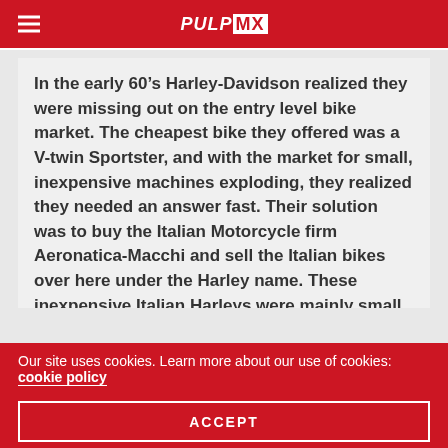PULPMX
In the early 60’s Harley-Davidson realized they were missing out on the entry level bike market. The cheapest bike they offered was a V-twin Sportster, and with the market for small, inexpensive machines exploding, they realized they needed an answer fast. Their solution was to buy the Italian Motorcycle firm Aeronatica-Macchi and sell the Italian bikes over here under the Harley name. These inexpensive Italian Harleys were mainly small two-stroke singles that served as a stepping-stone to Harley’s bigger models. As the off-road market heated up in the late sixties,
Our site uses cookies. Learn more about our use of cookies: cookie policy
ACCEPT